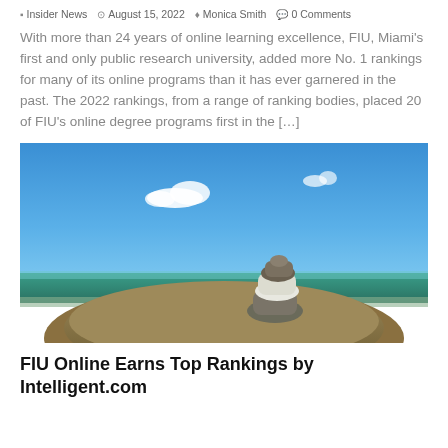Insider News  August 15, 2022  Monica Smith  0 Comments
With more than 24 years of online learning excellence, FIU, Miami's first and only public research university, added more No. 1 rankings for many of its online programs than it has ever garnered in the past. The 2022 rankings, from a range of ranking bodies, placed 20 of FIU's online degree programs first in the […]
[Figure (photo): Stacked stones balanced on a large rock by the ocean under a blue sky with small white clouds]
FIU Online Earns Top Rankings by Intelligent.com